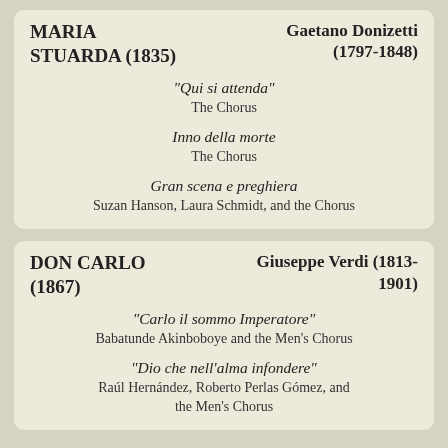MARIA STUARDA (1835) — Gaetano Donizetti (1797-1848)
"Qui si attenda" — The Chorus
Inno della morte — The Chorus
Gran scena e preghiera — Suzan Hanson, Laura Schmidt, and the Chorus
DON CARLO (1867) — Giuseppe Verdi (1813-1901)
"Carlo il sommo Imperatore" — Babatunde Akinboboye and the Men's Chorus
"Dio che nell'alma infondere" — Raúl Hernández, Roberto Perlas Gómez, and the Men's Chorus